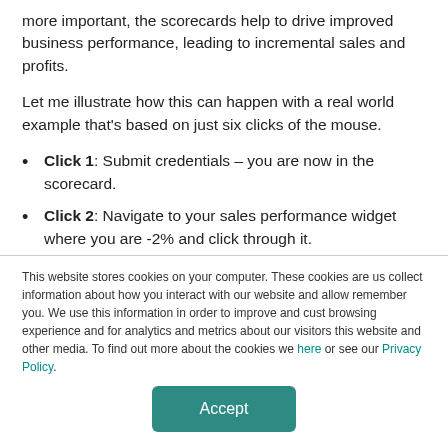more important, the scorecards help to drive improved business performance, leading to incremental sales and profits.
Let me illustrate how this can happen with a real world example that's based on just six clicks of the mouse.
Click 1: Submit credentials – you are now in the scorecard.
Click 2: Navigate to your sales performance widget where you are -2% and click through it.
Click 3: Now that you can see all of your categories, click on Frozen where the performance index is a 34, well below average.
This website stores cookies on your computer. These cookies are us collect information about how you interact with our website and allow remember you. We use this information in order to improve and cust browsing experience and for analytics and metrics about our visitors this website and other media. To find out more about the cookies we here or see our Privacy Policy.
Accept